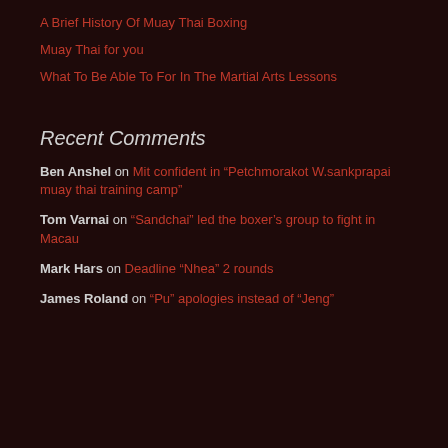A Brief History Of Muay Thai Boxing
Muay Thai for you
What To Be Able To For In The Martial Arts Lessons
Recent Comments
Ben Anshel on Mit confident in “Petchmorakot W.sankprapai muay thai training camp”
Tom Varnai on “Sandchai” led the boxer’s group to fight in Macau
Mark Hars on Deadline “Nhea” 2 rounds
James Roland on “Pu” apologies instead of “Jeng”